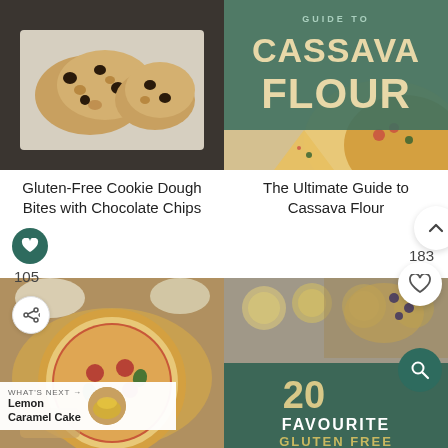[Figure (photo): Gluten-free cookie dough bites with chocolate chips on parchment paper on a dark baking tray]
[Figure (photo): The Ultimate Guide to Cassava Flour book/graphic with green overlay text and pizza in background]
Gluten-Free Cookie Dough Bites with Chocolate Chips
The Ultimate Guide to Cassava Flour
[Figure (photo): Pizza with basil, salami and cheese on wooden board with side dishes]
[Figure (photo): 20 Favourite Gluten Free recipes collage with cookies and crumble on dark green overlay]
105
183
WHAT'S NEXT → Lemon Caramel Cake